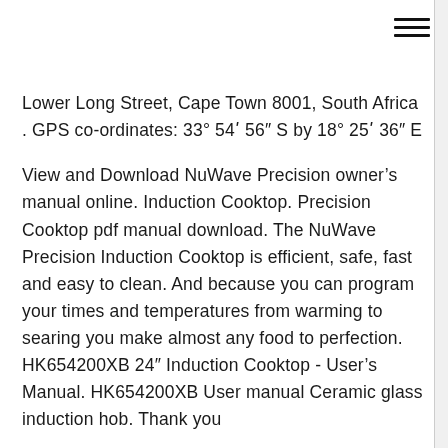Lower Long Street, Cape Town 8001, South Africa . GPS co-ordinates: 33° 54ʹ 56″ S by 18° 25ʹ 36″ E
View and Download NuWave Precision owner’s manual online. Induction Cooktop. Precision Cooktop pdf manual download. The NuWave Precision Induction Cooktop is efficient, safe, fast and easy to clean. And because you can program your times and temperatures from warming to searing you make almost any food to perfection. HK654200XB 24″ Induction Cooktop - User’s Manual. HK654200XB User manual Ceramic glass induction hob. Thank you